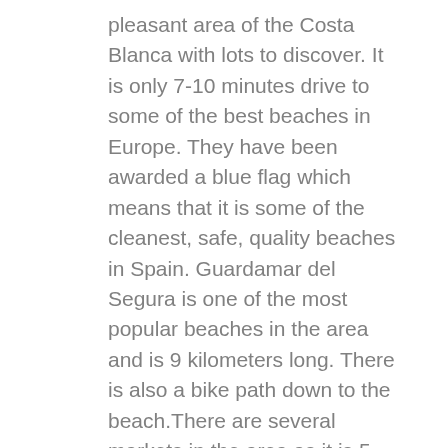pleasant area of the Costa Blanca with lots to discover. It is only 7-10 minutes drive to some of the best beaches in Europe. They have been awarded a blue flag which means that it is some of the cleanest, safe, quality beaches in Spain. Guardamar del Segura is one of the most popular beaches in the area and is 9 kilometers long. There is also a bike path down to the beach.There are several markets in the area as it is 5 minutes by car. Here you can buy fresh groceries, souvenirs and much more. There is a marked for every day of the week less than 15 minutes from Quesada.This is the perfect place whether you are looking for a permanent home, or just a vacation home for you and you're loved once.There are over 300 sunny days a year, and the average temperature is 20 degrees. The two big salt lakes give a cleansing effect on the air. In 2019, Spain was named the world's healthiest country to live in, this is noticed when you come down. The